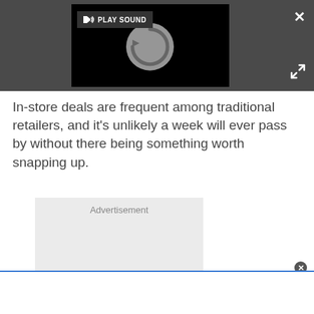[Figure (screenshot): Video player area with black background showing a loading spinner circle (gray circle with curved arrow). A 'PLAY SOUND' button with speaker icon is in the top-left. A white X close button is top-right. An expand/fullscreen icon is bottom-right. All on a dark gray background bar.]
In-store deals are frequent among traditional retailers, and it's unlikely a week will ever pass by without there being something worth snapping up.
[Figure (other): Advertisement placeholder box with light gray background and 'Advertisement' label text centered at top.]